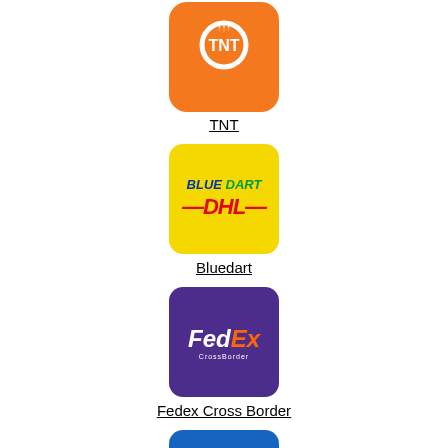[Figure (logo): TNT courier service logo - orange rounded square with TNT text and logo mark]
TNT
[Figure (logo): Blue Dart DHL logo - yellow rounded square with BLUE DART and DHL text]
Bluedart
[Figure (logo): FedEx CrossBorder logo - purple rounded square with FedEx CrossBorder text]
Fedex Cross Border
[Figure (logo): Ensenda logo - blue rounded square with Ensenda italic text and arc]